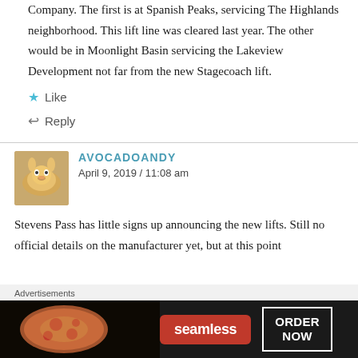Company. The first is at Spanish Peaks, servicing The Highlands neighborhood. This lift line was cleared last year. The other would be in Moonlight Basin servicing the Lakeview Development not far from the new Stagecoach lift.
★ Like
↩ Reply
AVOCADOANDY
April 9, 2019 / 11:08 am
Stevens Pass has little signs up announcing the new lifts. Still no official details on the manufacturer yet, but at this point
[Figure (photo): Advertisement banner for Seamless food delivery. Shows pizza on left, red Seamless logo button in center, and ORDER NOW button with white border on right, all on dark background.]
Advertisements